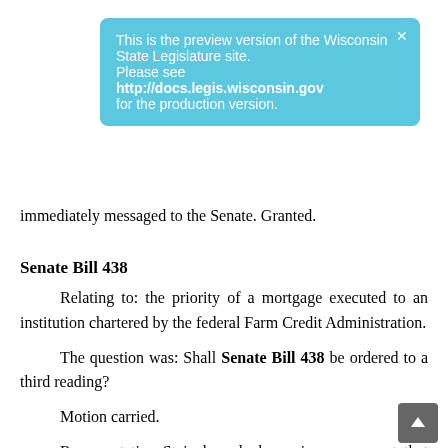[Figure (other): Blue notification banner overlay: 'This is the preview version of the Wisconsin State Legislature site. Please see http://docs.legis.wisconsin.gov for the production version.' with an X close button.]
immediately messaged to the Senate. Granted.
Senate Bill 438
Relating to: the priority of a mortgage executed to an institution chartered by the federal Farm Credit Administration.
The question was: Shall Senate Bill 438 be ordered to a third reading?
Motion carried.
Representative Steineke asked unanimous consent that the rules be suspended and that Senate Bill 438 be giv